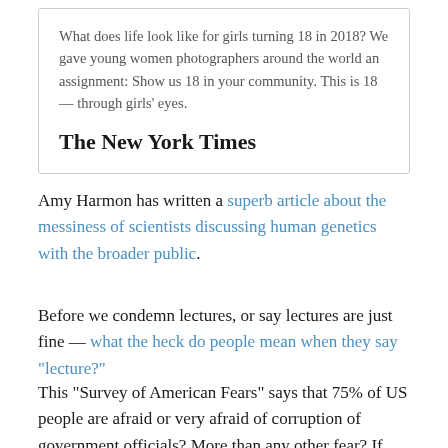What does life look like for girls turning 18 in 2018? We gave young women photographers around the world an assignment: Show us 18 in your community. This is 18 — through girls' eyes.
[Figure (logo): The New York Times masthead logo in blackletter font]
Amy Harmon has written a superb article about the messiness of scientists discussing human genetics with the broader public.
Before we condemn lectures, or say lectures are just fine — what the heck do people mean when they say "lecture?"
This “Survey of American Fears” says that 75% of US people are afraid or very afraid of corruption of government officials? More than any other fear? If that’s